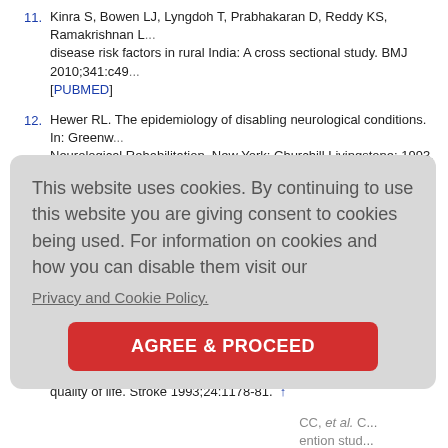11. Kinra S, Bowen LJ, Lyngdoh T, Prabhakaran D, Reddy KS, Ramakrishnan L, et al. ... disease risk factors in rural India: A cross sectional study. BMJ 2010;341:c49... [PUBMED]
12. Hewer RL. The epidemiology of disabling neurological conditions. In: Greenw... Neurological Rehabilitation. New York: Churchill Livingstone; 1993. p. 3-12.
13. Sillanpää M. Epilepsy in children: Prevalence, disability, and handicap. Epile...
14. Raschilas F, Wolff M, Delatour F, Chaffaut C, De Broucker T, Chevret S, et al. ... encephalitis in adult patients: Results of a multicenter study. Clin Infect Dis 2... [PUBMED]
15. De Haan R, Horn J, Limburg M, Van Der Meulen J, Bossuyt P. A comparison... quality of life. Stroke 1993;24:1178-81. ↑
...CC, et al. C... ention stud...
...s JF. The c... ↑
...ility in Park...
...nent of dise...
20. Bernabeu M, Laxe S, Lopez R, Stucki G, Ward A, Barnes M, et al. Developin...
This website uses cookies. By continuing to use this website you are giving consent to cookies being used. For information on cookies and how you can disable them visit our Privacy and Cookie Policy.